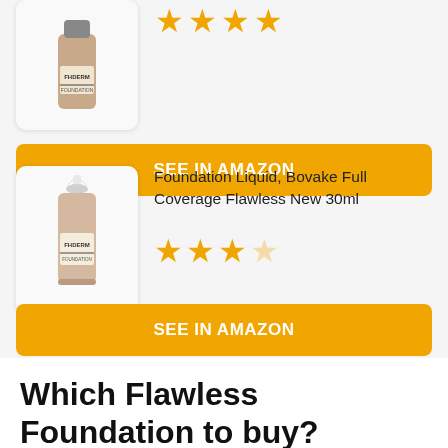[Figure (photo): Partial product image of FHDERM foundation bottle in a white rounded card at top]
[Figure (other): 4 orange stars (partial, cut off at top)]
SEE IN AMAZON
Foundation Liquid, Bovake Full Coverage Flawless New 30ml
[Figure (other): 3.5 out of 5 orange stars rating]
[Figure (photo): FHDERM foundation bottle with dropper cap in a white rounded card]
SEE IN AMAZON
Which Flawless Foundation to buy?
Charlotte Tilbury Airbrush